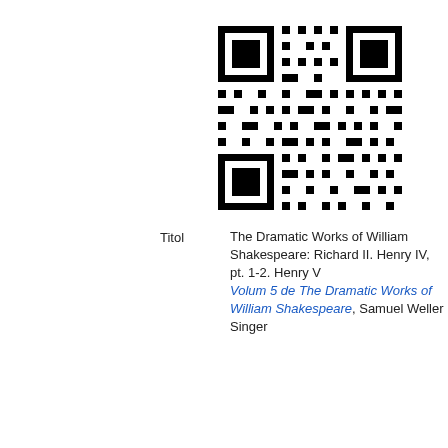[Figure (other): QR code image linking to a resource about The Dramatic Works of William Shakespeare volume 5]
| Titol | The Dramatic Works of William Shakespeare: Richard II. Henry IV, pt. 1-2. Henry V Volum 5 de The Dramatic Works of William Shakespeare, Samuel Weller Singer |